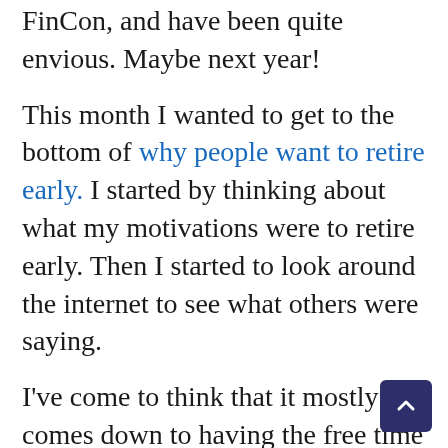FinCon, and have been quite envious. Maybe next year!
This month I wanted to get to the bottom of why people want to retire early. I started by thinking about what my motivations were to retire early. Then I started to look around the internet to see what others were saying.
I've come to think that it mostly comes down to having the free time to pursue the things we love. Be it spending time with family, travelling, or learning, helping others, or having the ability to run your own schedule. A large chunk of my motivations also revolves around lowering stress in our lives.